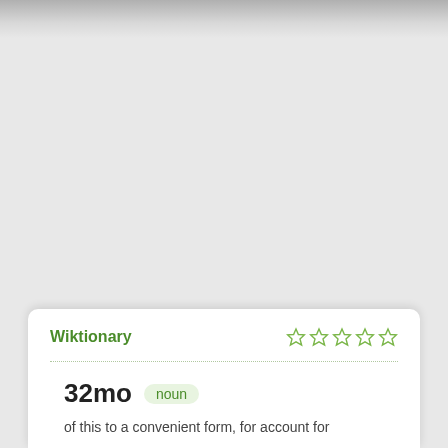Wiktionary
32mo
noun
of this to a convenient form, for account for